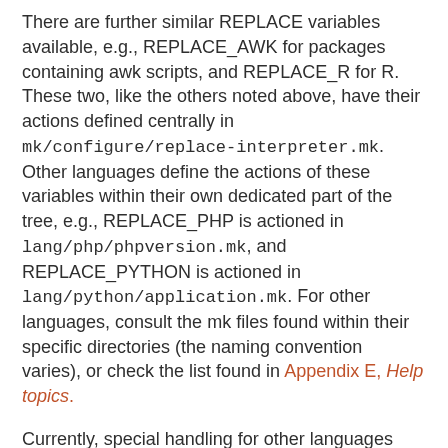There are further similar REPLACE variables available, e.g., REPLACE_AWK for packages containing awk scripts, and REPLACE_R for R. These two, like the others noted above, have their actions defined centrally in mk/configure/replace-interpreter.mk. Other languages define the actions of these variables within their own dedicated part of the tree, e.g., REPLACE_PHP is actioned in lang/php/phpversion.mk, and REPLACE_PYTHON is actioned in lang/python/application.mk. For other languages, consult the mk files found within their specific directories (the naming convention varies), or check the list found in Appendix E, Help topics.
Currently, special handling for other languages varies in pkgsrc. If a compiler package provides a buildlink3.mk file, include that, otherwise just add a (build) dependency on the appropriate compiler package.
21.5. The build phase
The most common failures when building a package